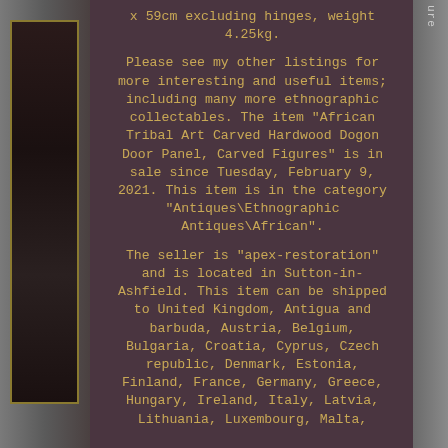[Figure (photo): Partial photo of an African carved wooden door panel with dark frame, visible on left side of page]
x 59cm excluding hinges, weight 4.25kg.

Please see my other listings for more interesting and useful items; including many more ethnographic collectables. The item "African Tribal Art Carved Hardwood Dogon Door Panel, Carved Figures" is in sale since Tuesday, February 9, 2021. This item is in the category "Antiques\Ethnographic Antiques\African".

The seller is "apex-restoration" and is located in Sutton-in-Ashfield. This item can be shipped to United Kingdom, Antigua and barbuda, Austria, Belgium, Bulgaria, Croatia, Cyprus, Czech republic, Denmark, Estonia, Finland, France, Germany, Greece, Hungary, Ireland, Italy, Latvia, Lithuania, Luxembourg, Malta,